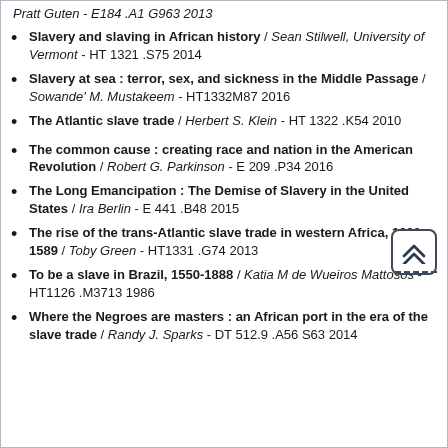Pratt Guten - E184 .A1 G963 2013
Slavery and slaving in African history / Sean Stilwell, University of Vermont - HT 1321 .S75 2014
Slavery at sea : terror, sex, and sickness in the Middle Passage / Sowande' M. Mustakeem - HT1332M87 2016
The Atlantic slave trade / Herbert S. Klein - HT 1322 .K54 2010
The common cause : creating race and nation in the American Revolution / Robert G. Parkinson - E 209 .P34 2016
The Long Emancipation : The Demise of Slavery in the United States / Ira Berlin - E 441 .B48 2015
The rise of the trans-Atlantic slave trade in western Africa, 1300-1589 / Toby Green - HT1331 .G74 2013
To be a slave in Brazil, 1550-1888 / Katia M de Wueiros Mattosos - HT1126 .M3713 1986
Where the Negroes are masters : an African port in the era of the slave trade / Randy J. Sparks - DT 512.9 .A56 S63 2014